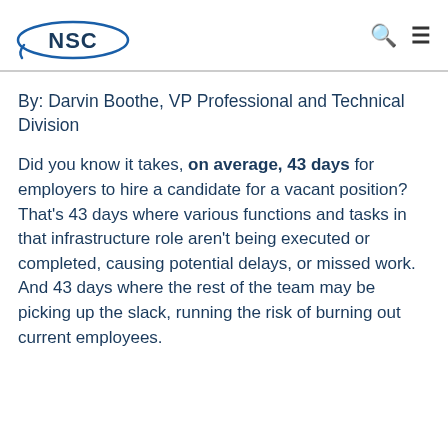NSC logo, search icon, menu icon
By: Darvin Boothe, VP Professional and Technical Division
Did you know it takes, on average, 43 days for employers to hire a candidate for a vacant position? That's 43 days where various functions and tasks in that infrastructure role aren't being executed or completed, causing potential delays, or missed work. And 43 days where the rest of the team may be picking up the slack, running the risk of burning out current employees.